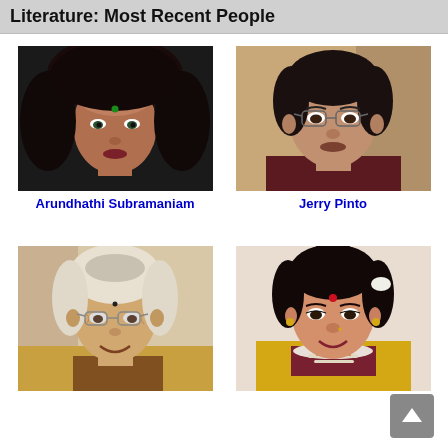Literature: Most Recent People
[Figure (photo): Portrait photo of Arundhathi Subramaniam, an Indian woman with dark hair and a green bindi]
Arundhathi Subramaniam
[Figure (photo): Portrait photo of Jerry Pinto, an Indian man wearing glasses and a dark red striped shirt]
Jerry Pinto
[Figure (photo): Portrait photo of an elderly Indian woman wearing glasses and a saree, smiling]
[Figure (photo): Portrait photo of an Indian woman in a yellow saree with jasmine flowers, wearing a red bindi]